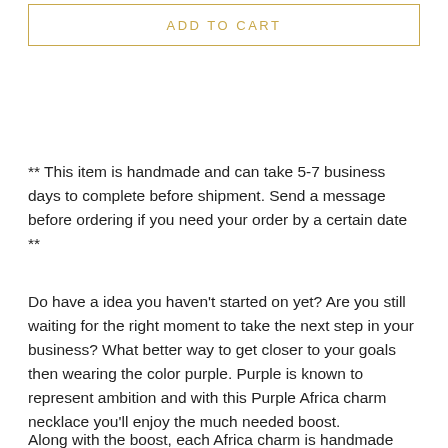ADD TO CART
** This item is handmade and can take 5-7 business days to complete before shipment. Send a message before ordering if you need your order by a certain date **
Do have a idea you haven't started on yet? Are you still waiting for the right moment to take the next step in your business? What better way to get closer to your goals then wearing the color purple. Purple is known to represent ambition and with this Purple Africa charm necklace you'll enjoy the much needed boost.
Along with the boost, each Africa charm is handmade with